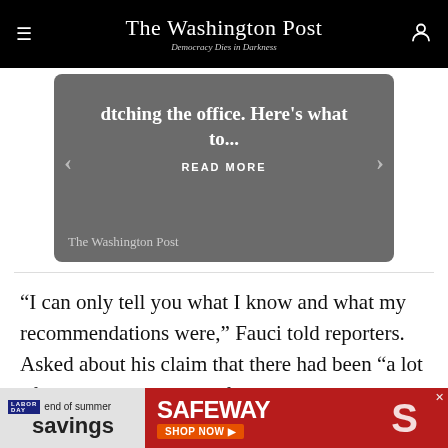The Washington Post — Democracy Dies in Darkness
[Figure (screenshot): Carousel card with partial headline text '...dtching the office. Here's what to...' and 'READ MORE' button, with The Washington Post logo at bottom, on gray background with left/right navigation arrows]
“I can only tell you what I know and what my recommendations were,” Fauci told reporters. Asked about his claim that there had been “a lot of pushback” to his call for earlier mitigation efforts, Fauci replied, “That was the wrong choice of words.”
[Figure (photo): Safeway Labor Day 'end of summer savings' advertisement banner]